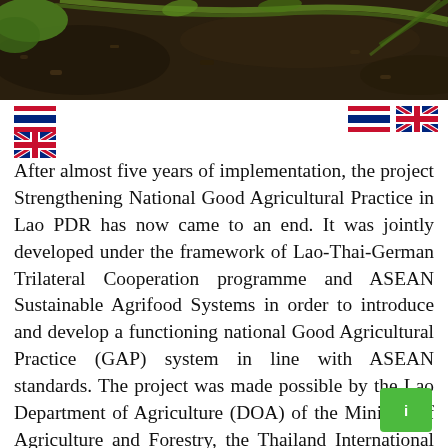[Figure (photo): Close-up photo of soil and plant stems, dark earthy background with green plant]
[Figure (infographic): Navigation header bar with Thai flag icon on left, Thai flag and UK flag icons on right]
After almost five years of implementation, the project Strengthening National Good Agricultural Practice in Lao PDR has now came to an end. It was jointly developed under the framework of Lao-Thai-German Trilateral Cooperation programme and ASEAN Sustainable Agrifood Systems in order to introduce and develop a functioning national Good Agricultural Practice (GAP) system in line with ASEAN standards. The project was made possible by the Lao Department of Agriculture (DOA) of the Ministry of Agriculture and Forestry, the Thailand International Cooperation Agency and GIZ (Gesellschaft fuer Internationale Zusammenarbeit). Thanks to the